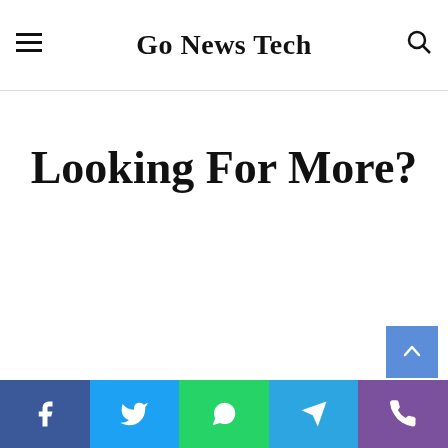Go News Tech
Looking For More?
Facebook | Twitter | WhatsApp | Telegram | Viber